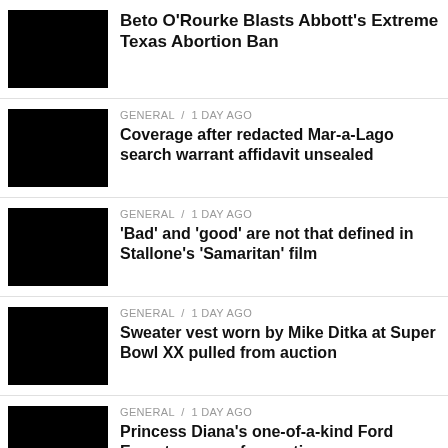Beto O'Rourke Blasts Abbott's Extreme Texas Abortion Ban
GENERAL / 1 day ago
Coverage after redacted Mar-a-Lago search warrant affidavit unsealed
GENERAL / 1 day ago
'Bad' and 'good' are not that defined in Stallone's 'Samaritan' film
GENERAL / 1 day ago
Sweater vest worn by Mike Ditka at Super Bowl XX pulled from auction
GENERAL / 1 day ago
Princess Diana's one-of-a-kind Ford Escort goes up for auction